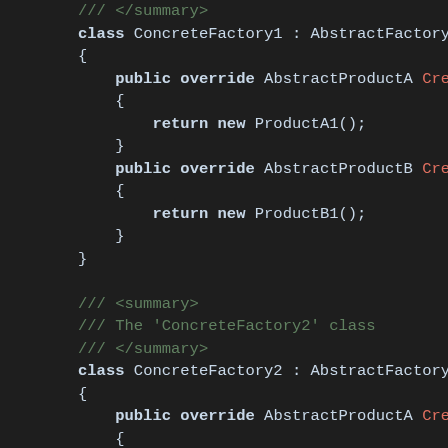[Figure (screenshot): Code editor screenshot showing C# source code with two ConcreteFactory classes (ConcreteFactory1 and ConcreteFactory2) implementing AbstractFactory pattern. Dark background IDE theme with syntax highlighting: keywords in bold light blue, method names in salmon/red, comments in dark green.]